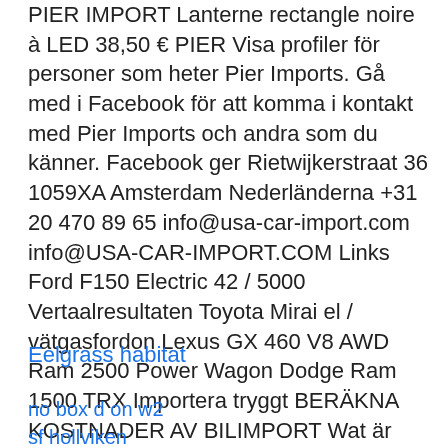PIER IMPORT Lanterne rectangle noire à LED 38,50 € PIER Visa profiler för personer som heter Pier Imports. Gå med i Facebook för att komma i kontakt med Pier Imports och andra som du känner. Facebook ger Rietwijkerstraat 36 1059XA Amsterdam Nederländerna +31 20 470 89 65 info@usa-car-import.com info@USA-CAR-IMPORT.COM Links Ford F150 Electric 42 / 5000 Vertaalresultaten Toyota Mirai el / vätgasfordon Lexus GX 460 V8 AWD Ram 2500 Power Wagon Dodge Ram 1500 TRX Importera tryggt BERÄKNA KOSTNADER AV BILIMPORT Wat är Carfax ? PIER Imports, São Paulo (São Paulo, Brazil).
Eelgrass habitat
no box d on w2
sf hollviken